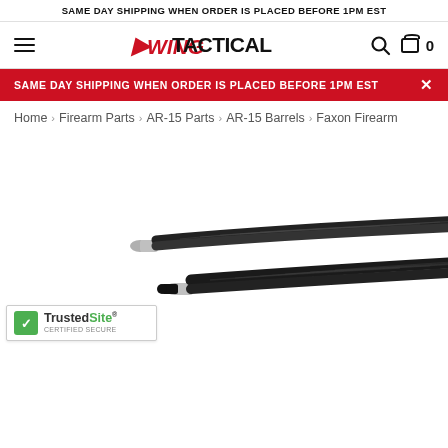SAME DAY SHIPPING WHEN ORDER IS PLACED BEFORE 1PM EST
[Figure (logo): Wing Tactical logo with hamburger menu, search icon, and cart icon showing 0 items]
SAME DAY SHIPPING WHEN ORDER IS PLACED BEFORE 1PM EST
Home > Firearm Parts > AR-15 Parts > AR-15 Barrels > Faxon Firearm
[Figure (photo): Two dark carbon fiber AR-15 barrels with silver muzzle ends, shown diagonally on white background]
[Figure (logo): TrustedSite certified secure badge with green checkmark]